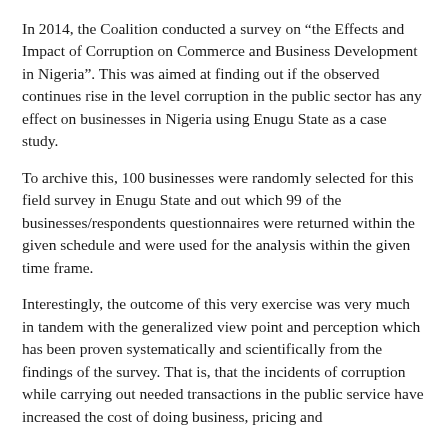In 2014, the Coalition conducted a survey on “the Effects and Impact of Corruption on Commerce and Business Development in Nigeria”. This was aimed at finding out if the observed continues rise in the level corruption in the public sector has any effect on businesses in Nigeria using Enugu State as a case study.
To archive this, 100 businesses were randomly selected for this field survey in Enugu State and out which 99 of the businesses/respondents questionnaires were returned within the given schedule and were used for the analysis within the given time frame.
Interestingly, the outcome of this very exercise was very much in tandem with the generalized view point and perception which has been proven systematically and scientifically from the findings of the survey. That is, that the incidents of corruption while carrying out needed transactions in the public service have increased the cost of doing business, pricing and